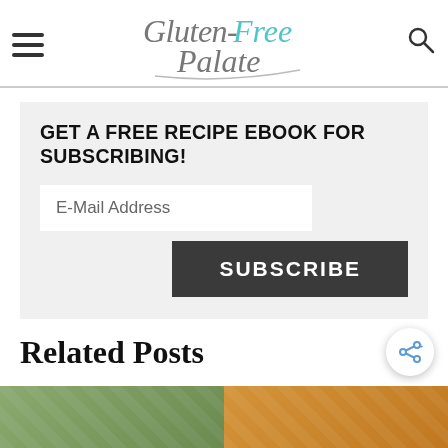Gluten-Free Palate
GET A FREE RECIPE EBOOK FOR SUBSCRIBING!
E-Mail Address
SUBSCRIBE
Related Posts
[Figure (photo): Thumbnail images of related posts at bottom of page]